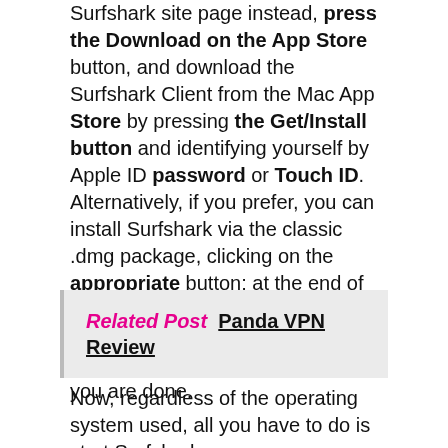Surfshark site page instead, press the Download on the App Store button, and download the Surfshark Client from the Mac App Store by pressing the Get/Install button and identifying yourself by Apple ID password or Touch ID. Alternatively, if you prefer, you can install Surfshark via the classic .dmg package, clicking on the appropriate button: at the end of the Download, open the obtained file, drag the Surfshark icon to the Mac Applications folder, and you are done.
Related Post  Panda VPN Review
Now, regardless of the operating system used, all you have to do is start Surfshark